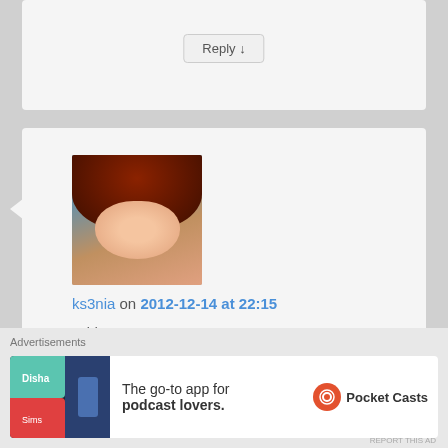Reply ↓
[Figure (photo): Avatar image of animated character with red hair, from The Sims]
ks3nia on 2012-12-14 at 22:15
said:
I'm always very emotional when I'm tired, so I actually cried a bit.. Such a nice and happy story, I'll sleep very fine now 🙂
★ Like
Advertisements
The go-to app for podcast lovers.  Pocket Casts